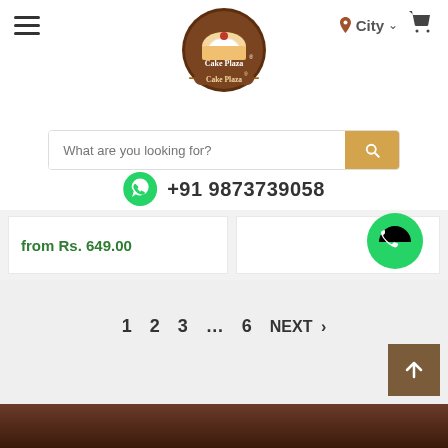Cake Plaza — City | Cart
[Figure (logo): Cake Plaza logo — circular brown badge with cake slice and ribbon]
What are you looking for? [search bar]
+91 9873739058
from Rs. 649.00
[Figure (illustration): WhatsApp floating button (green circle with phone icon)]
1   2   3   ...   6   NEXT  >
[Figure (illustration): Scroll-to-top brown square button with up arrow, and green chat bubble below]